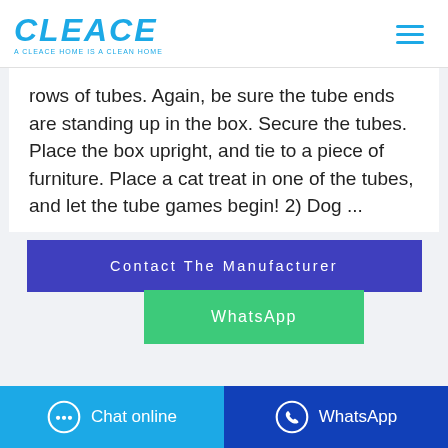CLEACE — A CLEACE HOME IS A CLEAN HOME
rows of tubes. Again, be sure the tube ends are standing up in the box. Secure the tubes. Place the box upright, and tie to a piece of furniture. Place a cat treat in one of the tubes, and let the tube games begin! 2) Dog ...
Contact The Manufacturer
WhatsApp
Chat online   WhatsApp